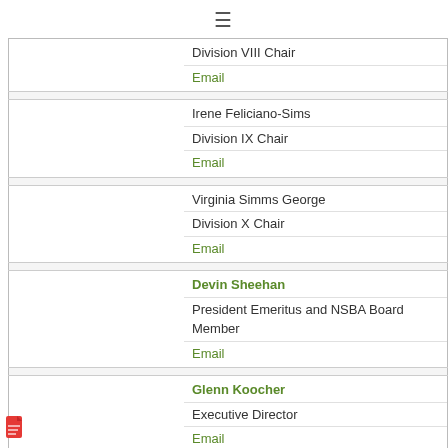|  |  |
| --- | --- |
|  | Division VIII Chair
Email |
|  | Irene Feliciano-Sims
Division IX Chair
Email |
|  | Virginia Simms George
Division X Chair
Email |
|  | Devin Sheehan
President Emeritus and NSBA Board Member
Email |
|  | Glenn Koocher
Executive Director
Email |
[Figure (other): PDF file icon at bottom left]